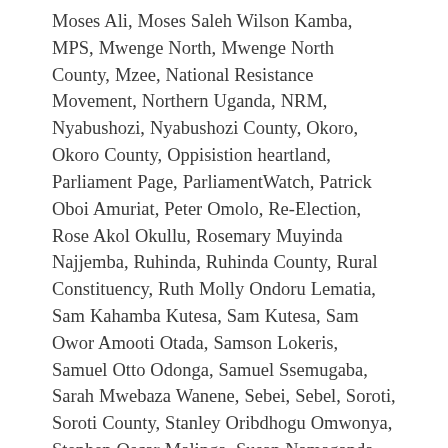Moses Ali, Moses Saleh Wilson Kamba, MPS, Mwenge North, Mwenge North County, Mzee, National Resistance Movement, Northern Uganda, NRM, Nyabushozi, Nyabushozi County, Okoro, Okoro County, Oppisistion heartland, Parliament Page, ParliamentWatch, Patrick Oboi Amuriat, Peter Omolo, Re-Election, Rose Akol Okullu, Rosemary Muyinda Najjemba, Ruhinda, Ruhinda County, Rural Constituency, Ruth Molly Ondoru Lematia, Sam Kahamba Kutesa, Sam Kutesa, Sam Owor Amooti Otada, Samson Lokeris, Samuel Otto Odonga, Samuel Ssemugaba, Sarah Mwebaza Wanene, Sebei, Sebel, Soroti, Soroti County, Stanley Oribdhogu Omwonya, Stephen Oscar Malinga, Susan Namaganda, Teso, The Electoral Commission, Thembo George William Nyombi, Toro, Tororo, Tororo County, Transparency, Uganda, Uganda at Heart, Uganda General Election 2016, Uganda Parliament, Uganda Peoples Congress, UPC, Vote, Voting, Voting history, West Nile, Western Uganda, William Ngabu Kwemara, Yaguma Wilberforce / 1 Comment